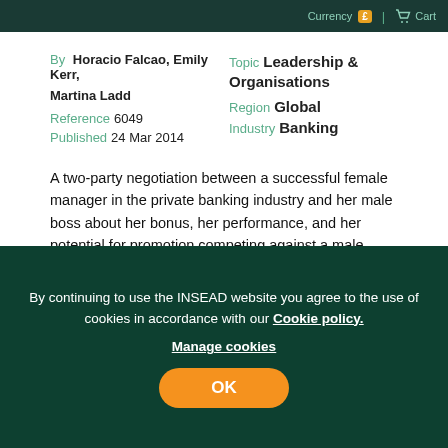Currency £ | Cart
By Horacio Falcao, Emily Kerr, Martina Ladd
Reference 6049
Published 24 Mar 2014
Topic Leadership & Organisations
Region Global
Industry Banking
A two-party negotiation between a successful female manager in the private banking industry and her male boss about her bonus, her performance, and her potential for promotion competing against a male colleague, laden with gender issues.
View case
By continuing to use the INSEAD website you agree to the use of cookies in accordance with our Cookie policy. Manage cookies OK